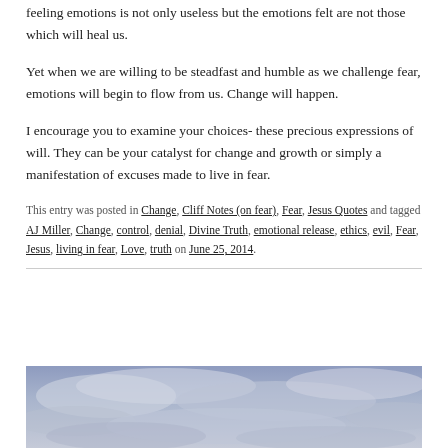feeling emotions is not only useless but the emotions felt are not those which will heal us.
Yet when we are willing to be steadfast and humble as we challenge fear, emotions will begin to flow from us. Change will happen.
I encourage you to examine your choices- these precious expressions of will. They can be your catalyst for change and growth or simply a manifestation of excuses made to live in fear.
This entry was posted in Change, Cliff Notes (on fear), Fear, Jesus Quotes and tagged AJ Miller, Change, control, denial, Divine Truth, emotional release, ethics, evil, Fear, Jesus, living in fear, Love, truth on June 25, 2014.
[Figure (photo): Sky with clouds, bluish-grey tones, partial view at bottom of page]